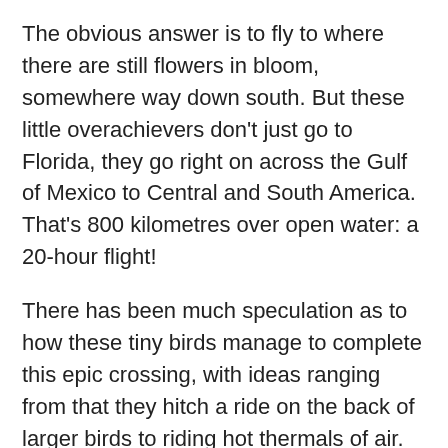The obvious answer is to fly to where there are still flowers in bloom, somewhere way down south. But these little overachievers don't just go to Florida, they go right on across the Gulf of Mexico to Central and South America. That's 800 kilometres over open water: a 20-hour flight!
There has been much speculation as to how these tiny birds manage to complete this epic crossing, with ideas ranging from that they hitch a ride on the back of larger birds to riding hot thermals of air. Tests have been conducted using wind tunnels and carefully measured food, subjecting hummingbirds to simulated flight times. Bottom line is, so far, we don't really know for sure yet just how they do it, other than they do miraculously show up on the distant shore with each migration (although the avian hitch-hiking idea is widely poo-pooed by the scientific community).